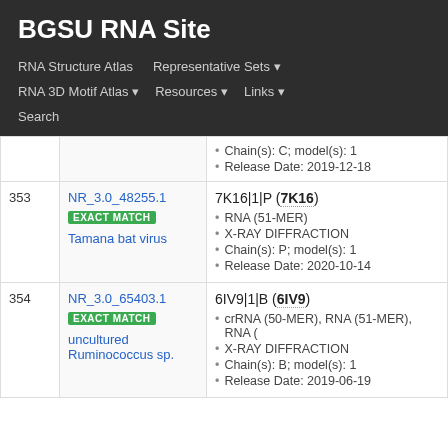BGSU RNA Site
RNA Structure Atlas | Representative Sets ▾ | RNA 3D Motif Atlas ▾ | Resources ▾ | Links ▾ | Search
| # | ID | Details |
| --- | --- | --- |
|  |  | Chain(s): C; model(s): 1
Release Date: 2019-12-18 |
| 353 | NR_3.0_48255.1
EXACT MATCH
Tamana bat virus | 7K16|1|P (7K16)
RNA (51-MER)
X-RAY DIFFRACTION
Chain(s): P; model(s): 1
Release Date: 2020-10-14 |
| 354 | NR_3.0_65403.1
EXACT MATCH
uncultured Ruminococcus sp. | 6IV9|1|B (6IV9)
crRNA (50-MER), RNA (51-MER), RNA (
X-RAY DIFFRACTION
Chain(s): B; model(s): 1
Release Date: 2019-06-19 |